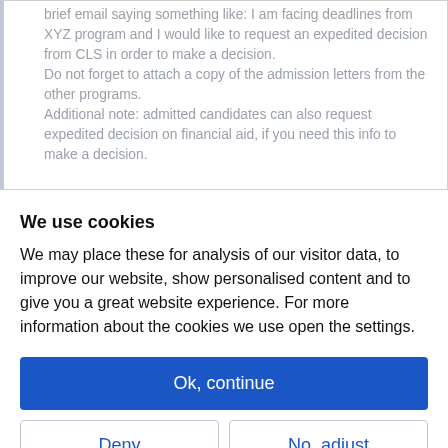brief email saying something like: I am facing deadlines from XYZ program and I would like to request an expedited decision from CLS in order to make a decision.
Do not forget to attach a copy of the admission letters from the other programs.
Additional note: admitted candidates can also request expedited decision on financial aid, if you need this info to make a decision.
We use cookies
We may place these for analysis of our visitor data, to improve our website, show personalised content and to give you a great website experience. For more information about the cookies we use open the settings.
Ok, continue
Deny
No, adjust